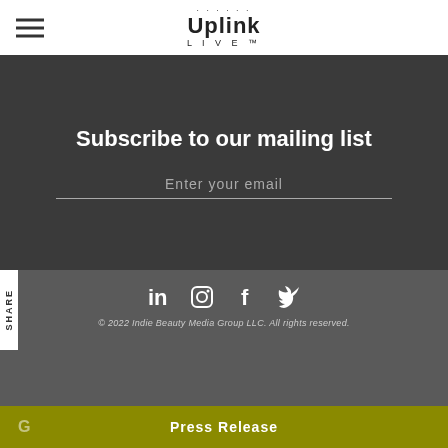[Figure (logo): UpLink LIVE logo with dots above and hamburger menu icon on left in white navigation bar]
Subscribe to our mailing list
Enter your email
SHARE
[Figure (infographic): Social media icons row: LinkedIn, Instagram, Facebook, Twitter]
© 2022 Indie Beauty Media Group LLC. All rights reserved.
This website uses cookies to ensure that you get the best experience. By continuing to browse the site you are agreeing to our use of cookies. Learn More
Privacy
Terms
FAQ
Press Release